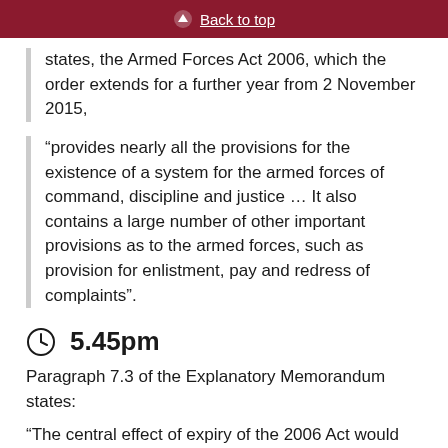Back to top
states, the Armed Forces Act 2006, which the order extends for a further year from 2 November 2015,
“provides nearly all the provisions for the existence of a system for the armed forces of command, discipline and justice … It also contains a large number of other important provisions as to the armed forces, such as provision for enlistment, pay and redress of complaints”.
5.45pm
Paragraph 7.3 of the Explanatory Memorandum states:
“The central effect of expiry of the 2006 Act would